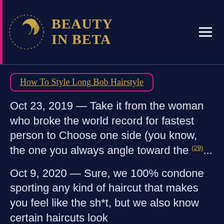BEAUTY IN BETA
How To Style Long Bob Hairstyle
Oct 23, 2019 — Take it from the woman who broke the world record for fastest person to Choose one side (you know, the one you always angle toward the (29)...
Oct 9, 2020 — Sure, we 100% condone sporting any kind of haircut that makes you feel like the sh*t, but we also know certain haircuts look